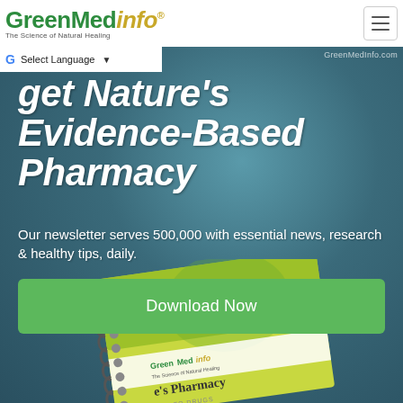GreenMedInfo - The Science of Natural Healing
Select Language
GreenMedInfo.com
get Nature's Evidence-Based Pharmacy
Our newsletter serves 500,000 with essential news, research & healthy tips, daily.
Download Now
[Figure (photo): A spiral-bound book with a green leaf cover showing GreenMedInfo Nature's Pharmacy branding]